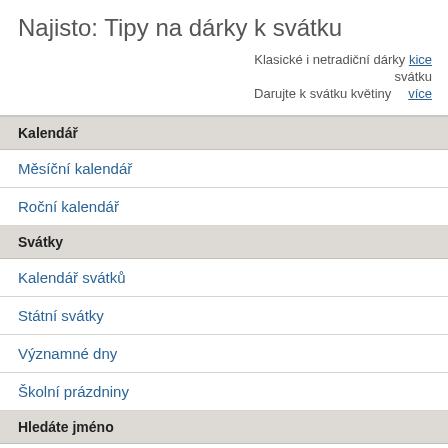Najisto: Tipy na dárky k svátku
Klasické i netradiční dárky více k svátku
Darujte k svátku květiny    více
Kalendář
Měsíční kalendář
Roční kalendář
Svátky
Kalendář svátků
Státní svátky
Významné dny
Školní prázdniny
Hledáte jméno
Jména pro děti